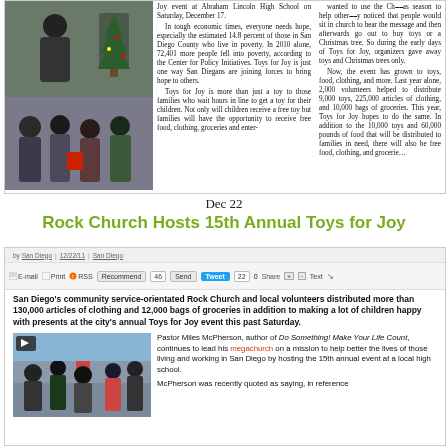[Figure (photo): Newspaper clipping with two photos on left (person near Christmas tree, group of people) and two columns of text about Toys for Joy event at Abraham Lincoln High School]
Dec 22
Rock Church Hosts 15th Annual Toys for Joy
[Figure (screenshot): Web article screenshot showing toolbar with social sharing buttons (E-mail, Print, RSS, Recommend 46, Send, Tweet 22, Share +/-, Text), byline, lead paragraph about San Diego community service Rock Church distributing clothing and groceries, photo of crowd, and text about Pastor Miles McPherson]